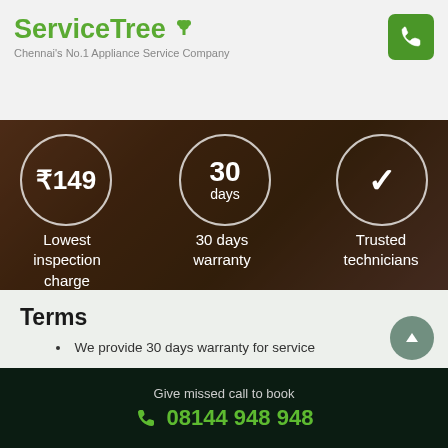[Figure (logo): ServiceTree logo with green tree icon and tagline 'Chennai's No.1 Appliance Service Company']
[Figure (infographic): Dark hero banner with three circular icons: ₹149 (Lowest inspection charge), 30 days (30 days warranty), checkmark (Trusted technicians)]
Terms
We provide 30 days warranty for service
Best price guarantee
If you are availing the service, no inspection charge, only pay the service charge. Incase not availing the service you have to pay
Give missed call to book
08144 948 948